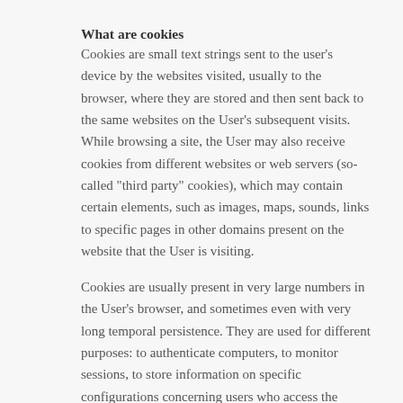What are cookies
Cookies are small text strings sent to the user's device by the websites visited, usually to the browser, where they are stored and then sent back to the same websites on the User's subsequent visits. While browsing a site, the User may also receive cookies from different websites or web servers (so-called "third party" cookies), which may contain certain elements, such as images, maps, sounds, links to specific pages in other domains present on the website that the User is visiting.
Cookies are usually present in very large numbers in the User's browser, and sometimes even with very long temporal persistence. They are used for different purposes: to authenticate computers, to monitor sessions, to store information on specific configurations concerning users who access the server, etc.